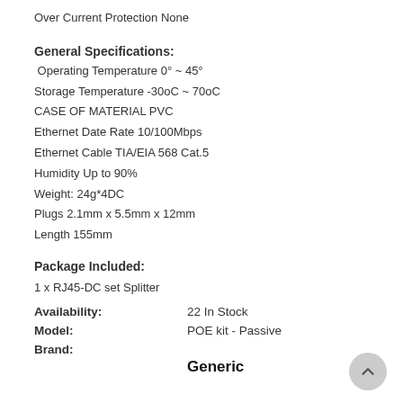Over Current Protection None
General Specifications:
Operating Temperature 0° ~ 45°
Storage Temperature -30oC ~ 70oC
CASE OF MATERIAL PVC
Ethernet Date Rate 10/100Mbps
Ethernet Cable TIA/EIA 568 Cat.5
Humidity Up to 90%
Weight: 24g*4DC
Plugs 2.1mm x 5.5mm x 12mm
Length 155mm
Package Included:
1 x RJ45-DC set Splitter
Availability:    22 In Stock
Model:    POE kit - Passive
Brand:    Generic